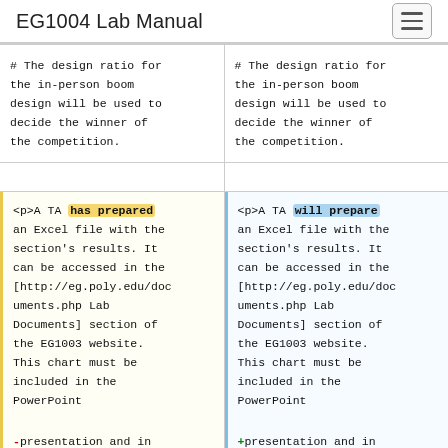EG1004 Lab Manual
# The design ratio for the in-person boom design will be used to decide the winner of the competition.
# The design ratio for the in-person boom design will be used to decide the winner of the competition.
<p>A TA has prepared an Excel file with the section's results. It can be accessed in the [http://eg.poly.edu/documents.php Lab Documents] section of the EG1003 website. This chart must be included in the PowerPoint presentation and in
<p>A TA will prepare an Excel file with the section's results. It can be accessed in the [http://eg.poly.edu/documents.php Lab Documents] section of the EG1003 website. This chart must be included in the PowerPoint presentation and in